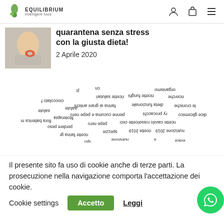EQUILIBRIUM intelligent food
[Figure (photo): Thumbnail image of a person eating food]
quarantena senza stress con la giusta dieta!
2 Aprile 2020
[Figure (infographic): Circular arc word cloud with various Italian food and health related terms arranged in a rainbow/arc pattern, upside down text suggesting rotation]
Il presente sito fa uso di cookie anche di terze parti. La prosecuzione nella navigazione comporta l'accettazione dei cookie.
Cookie settings
Accetto
Leggi